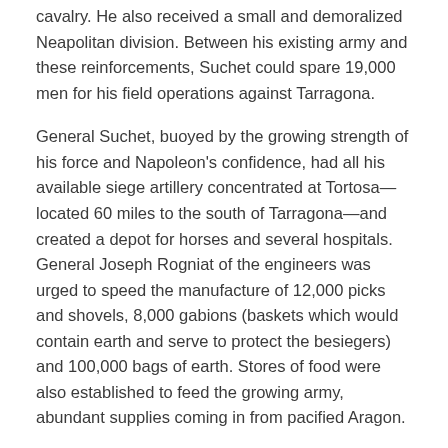cavalry. He also received a small and demoralized Neapolitan division. Between his existing army and these reinforcements, Suchet could spare 19,000 men for his field operations against Tarragona.
General Suchet, buoyed by the growing strength of his force and Napoleon's confidence, had all his available siege artillery concentrated at Tortosa—located 60 miles to the south of Tarragona—and created a depot for horses and several hospitals. General Joseph Rogniat of the engineers was urged to speed the manufacture of 12,000 picks and shovels, 8,000 gabions (baskets which would contain earth and serve to protect the besiegers) and 100,000 bags of earth. Stores of food were also established to feed the growing army, abundant supplies coming in from pacified Aragon.
Such hasty arrangements were thrown into doubt by the unexpected fall of Figueras to the Spanish on April 21, 1811. The unhappy Italian garrison, betrayed for money, had been